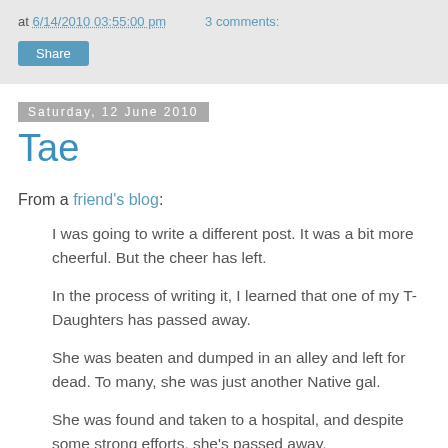at 6/14/2010 03:55:00 pm   3 comments:
Share
Saturday, 12 June 2010
Tae
From a friend's blog:
I was going to write a different post. It was a bit more cheerful. But the cheer has left.
In the process of writing it, I learned that one of my T-Daughters has passed away.
She was beaten and dumped in an alley and left for dead. To many, she was just another Native gal.
She was found and taken to a hospital, and despite some strong efforts, she's passed away.